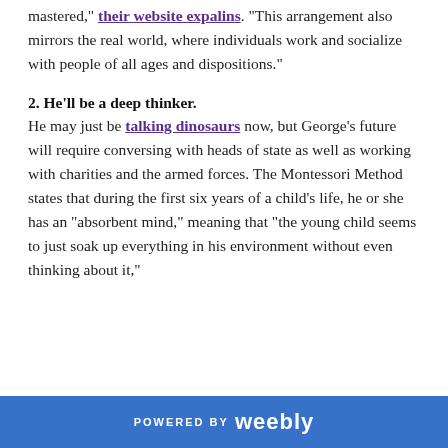mastered," their website expalins. "This arrangement also mirrors the real world, where individuals work and socialize with people of all ages and dispositions."
2. He'll be a deep thinker.
He may just be talking dinosaurs now, but George's future will require conversing with heads of state as well as working with charities and the armed forces. The Montessori Method states that during the first six years of a child's life, he or she has an "absorbent mind," meaning that "the young child seems to just soak up everything in his environment without even thinking about it,"
POWERED BY weebly